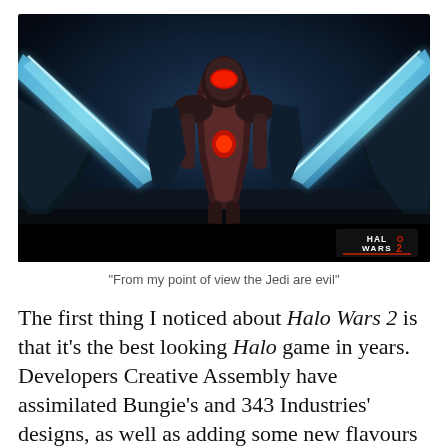[Figure (photo): Screenshot from Halo Wars 2 showing a large armored warrior in red holding a glowing weapon, surrounded by alien creatures with glowing blue energy blades. The HALO WARS 2 logo is visible in the bottom right corner. Dark, cinematic sci-fi atmosphere.]
"From my point of view the Jedi are evil"
The first thing I noticed about Halo Wars 2 is that it's the best looking Halo game in years. Developers Creative Assembly have assimilated Bungie's and 343 Industries' designs, as well as adding some new flavours of their own. For